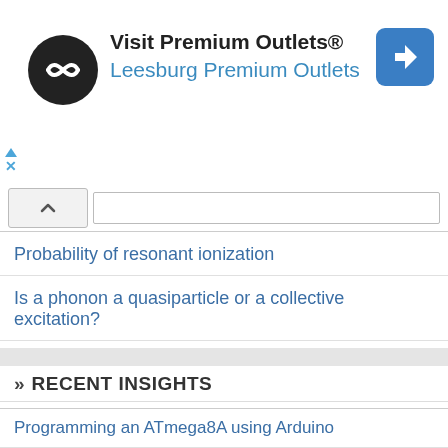[Figure (infographic): Advertisement banner for Premium Outlets with logo, text 'Visit Premium Outlets® Leesburg Premium Outlets', and a blue navigation arrow icon on the right. Small ad disclosure arrows and X on the left.]
Probability of resonant ionization
Is a phonon a quasiparticle or a collective excitation?
» RECENT INSIGHTS
Programming an ATmega8A using Arduino
P vs. NP conjecture and what is a Turing Machine (TM)?
Quantum Computing for Beginners
A Physics Misconception with Gauss' Law
How to Model a Magnet Falling Through a Conducting Pipe